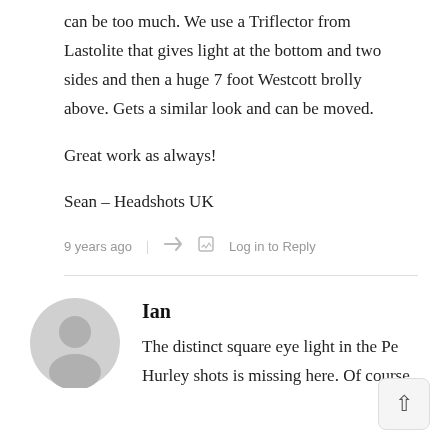can be too much. We use a Triflector from Lastolite that gives light at the bottom and two sides and then a huge 7 foot Westcott brolly above. Gets a similar look and can be moved.
Great work as always!
Sean – Headshots UK
9 years ago  |  Log in to Reply
Ian
The distinct square eye light in the Pe Hurley shots is missing here. Of course